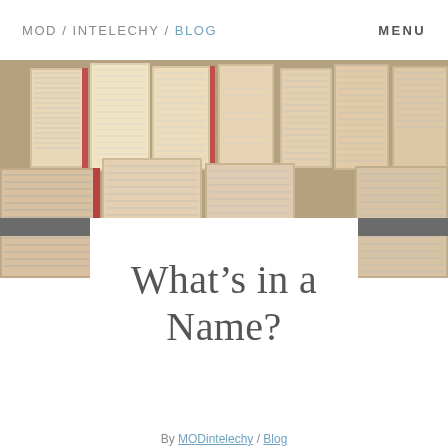MOD / INTELECHY / BLOG    MENU
[Figure (photo): Rows of open books standing spine-up, photographed from above, showing pages fanned out in warm beige and cream tones with occasional red accents on the spines.]
What’s in a Name?
By MODintelechy / Blog